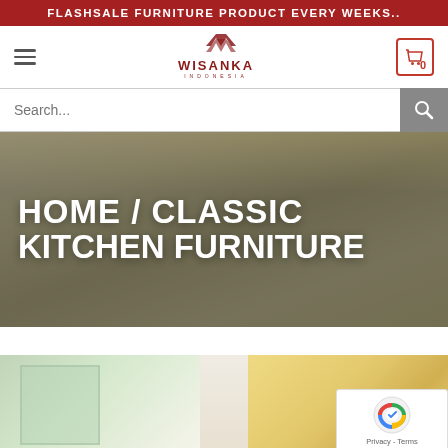FLASHSALE FURNITURE PRODUCT EVERY WEEKS..
[Figure (logo): Wisanka Indonesia logo with decorative W mark in dark red]
Search...
HOME / CLASSIC KITCHEN FURNITURE
[Figure (photo): Classic kitchen furniture with cream and gold cabinets, dark countertop, tall windows]
[Figure (photo): Classic kitchen furniture product image showing cream and gold ornate cabinet detail]